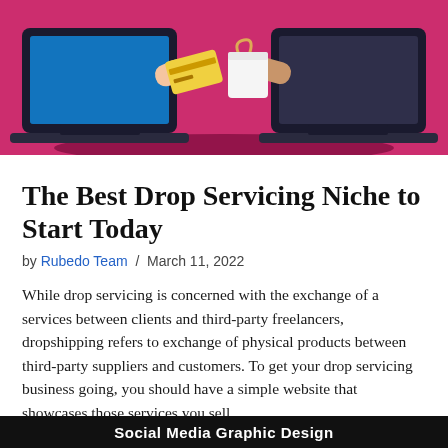[Figure (illustration): Two laptop screens facing each other on a pink/magenta background. Hands reach out from behind each screen exchanging items — a credit card and shopping bag — indicating an online commerce transaction.]
The Best Drop Servicing Niche to Start Today
by Rubedo Team / March 11, 2022
While drop servicing is concerned with the exchange of a services between clients and third-party freelancers, dropshipping refers to exchange of physical products between third-party suppliers and customers. To get your drop servicing business going, you should have a simple website that showcases those services you sell
Social Media Graphic Design